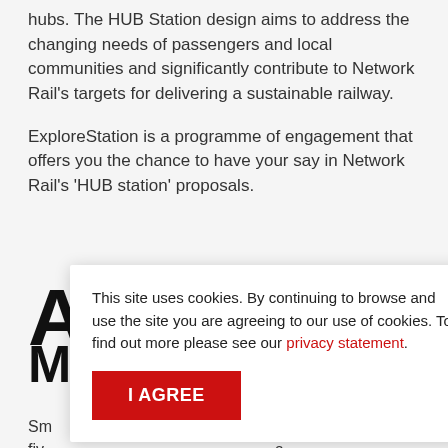hubs. The HUB Station design aims to address the changing needs of passengers and local communities and significantly contribute to Network Rail's targets for delivering a sustainable railway.
ExploreStation is a programme of engagement that offers you the chance to have your say in Network Rail's 'HUB station' proposals.
A
M
Sm... five... ca... co... al hig... n 2000 of these small-medium sized stations span every region of the country. Those stations can vary hugely in
This site uses cookies. By continuing to browse and use the site you are agreeing to our use of cookies. To find out more please see our privacy statement.
I AGREE